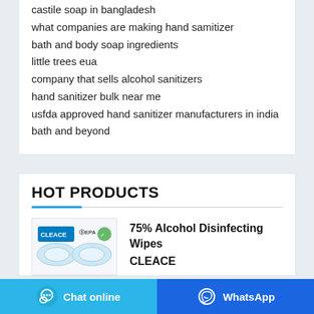castile soap in bangladesh
what companies are making hand samitizer
bath and body soap ingredients
little trees eua
company that sells alcohol sanitizers
hand sanitizer bulk near me
usfda approved hand sanitizer manufacturers in india
bath and beyond
HOT PRODUCTS
[Figure (photo): Product image of 75% Alcohol Disinfecting Wipes by CLEACE, showing CLEACE and EPA logos at top and wipes rolls at bottom]
75% Alcohol Disinfecting Wipes CLEACE
Chat online
WhatsApp